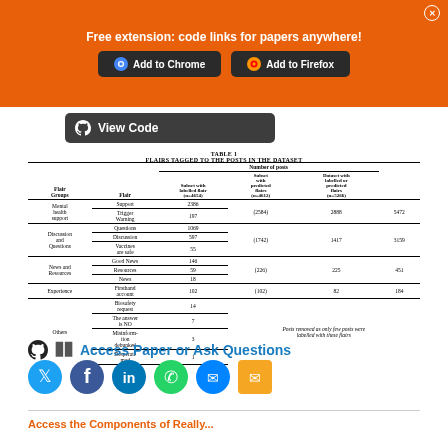Free extension: code links for papers anywhere!
[Figure (screenshot): View Code button with GitHub icon on dark background]
TABLE 1
FLAIRS TAGGED TO THE POSTS IN THE DATASET
| Flair Groups | Flair | Subset with labelled flair (n=4654) | Subset with predicted flairs (n=4612) | Dataset with labelled or predicted flairs (n=5266) |
| --- | --- | --- | --- | --- |
| Mental health support | Support | 2386 | (2584) | 2888 | 5472 |
| Mental health support | Trigger Warning | 197 | (2584) | 2888 | 5472 |
| Discussion and Questions | Questions | 1069 | (1742) | 1417 | 3159 |
| Discussion and Questions | Discussion | 597 | (1742) | 1417 | 3159 |
| Discussion and Questions | Vaccines are safe | 55 | (1742) | 1417 | 3159 |
| News and Resources | Good News | 146 | (226) | 225 | 451 |
| News and Resources | Resources | 59 | (226) | 225 | 451 |
| News and Resources | News | 18 | (226) | 225 | 451 |
| Experience | Firsthand account | 102 | (102) | 82 | 184 |
| Others | Biosafety request | 14 | Posts removed as only few posts were labelled with these flairs |  |  |
| Others | The answer is NO | 7 |  |  |  |
| Others | Misinformation debunked | 3 |  |  |  |
| Others | Desperate mad | 1 |  |  |  |
Access Paper or Ask Questions
[Figure (infographic): Social media sharing icons: Twitter, Facebook, LinkedIn, WhatsApp, Messenger, Email]